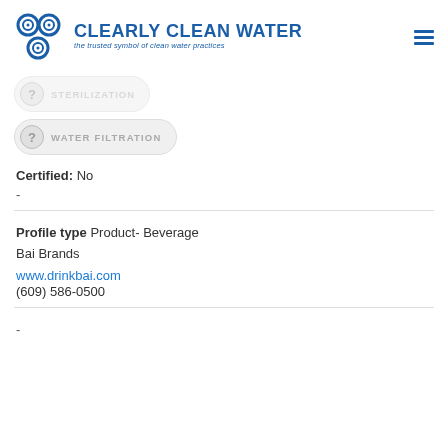CLEARLY CLEAN WATER — the trusted symbol of clean water practices
[Figure (logo): Clearly Clean Water logo: three circular badge icons in blue arranged in a triangle, next to bold blue text 'CLEARLY CLEAN WATER' and italic subtitle 'the trusted symbol of clean water practices']
? [partially visible pill button — redacted label]
? WATER FILTRATION
Certified: No
-
Profile type Product- Beverage
Bai Brands
www.drinkbai.com
(609) 586-0500
-